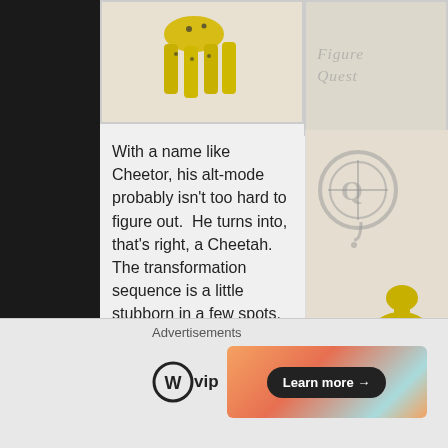[Figure (photo): Top strip with two photos side by side: left shows yellow cheetah figure legs/body on beige background, right shows FigureQuest watermark logo on grey background]
With a name like Cheetor, his alt-mode probably isn't too hard to figure out.  He turns into, that's right, a Cheetah.  The transformation sequence is a little stubborn in a few spots, and there's a tab on the back of the cheetah head's neck that is pretty much guaranteed to break.  It's fortunately not super necessary for either mode, and I was able to avoid breaking mine (the stress marks are certainly there, though), but
[Figure (photo): Right side photo showing yellow cheetah Transformer figure in cheetah/animal mode on beige background, with FigureQuest circular logo watermark at top]
Advertisements
[Figure (logo): WordPress VIP logo (circle W symbol followed by 'vip' text)]
[Figure (photo): Advertisement banner with gradient orange/teal background and 'Learn more →' button in black rounded rectangle]